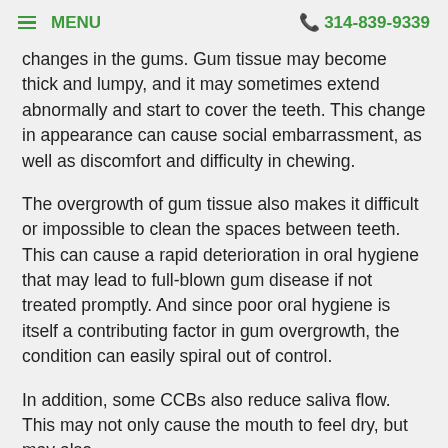MENU   314-839-9339
changes in the gums. Gum tissue may become thick and lumpy, and it may sometimes extend abnormally and start to cover the teeth. This change in appearance can cause social embarrassment, as well as discomfort and difficulty in chewing.
The overgrowth of gum tissue also makes it difficult or impossible to clean the spaces between teeth. This can cause a rapid deterioration in oral hygiene that may lead to full-blown gum disease if not treated promptly. And since poor oral hygiene is itself a contributing factor in gum overgrowth, the condition can easily spiral out of control.
In addition, some CCBs also reduce saliva flow. This may not only cause the mouth to feel dry, but may also